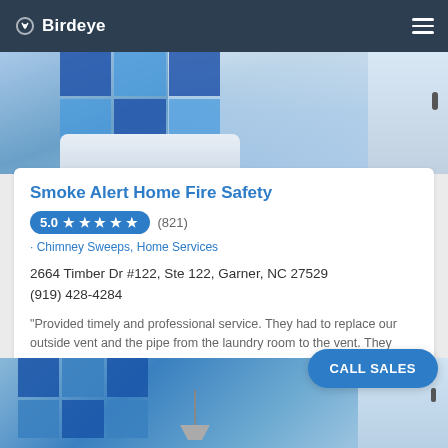Birdeye
[Figure (photo): Room interior photo showing blue-tinted window with grid panes, white pillows, curtain, and door with handle]
Smoke Alert Home Fire Safety
5.0 ★ ★ ★ ★ ★ (821)
· Chimney Sweeps, Home Services
2664 Timber Dr #122, Ste 122, Garner, NC 27529
(919) 428-4284
"Provided timely and professional service. They had to replace our outside vent and the pipe from the laundry room to the vent. They als"...
[Figure (photo): Room interior photo showing blue-tinted window with grid panes, lamp, and door with handle — bottom portion]
CALL SALES